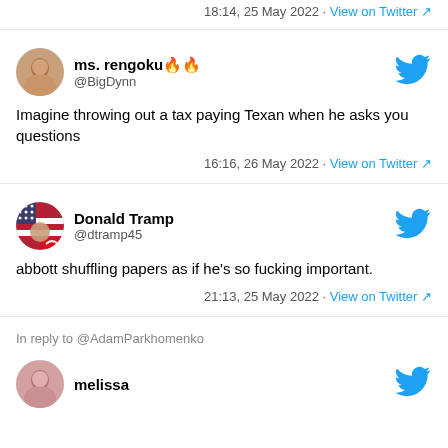18:14, 25 May 2022 · View on Twitter
ms. rengoku🔥🔥 @BigDynn
Imagine throwing out a tax paying Texan when he asks you questions
16:16, 26 May 2022 · View on Twitter
Donald Tramp @dtramp45
abbott shuffling papers as if he's so fucking important.
21:13, 25 May 2022 · View on Twitter
In reply to @AdamParkhomenko
melissa